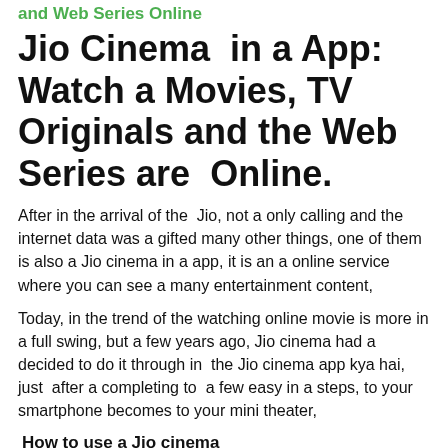and Web Series Online
Jio Cinema  in a App: Watch a Movies, TV Originals and the Web Series are  Online.
After in the arrival of the  Jio, not a only calling and the internet data was a gifted many other things, one of them is also a Jio cinema in a app, it is an a online service where you can see a many entertainment content,
Today, in the trend of the watching online movie is more in a full swing, but a few years ago, Jio cinema had a decided to do it through in  the Jio cinema app kya hai, just  after a completing to  a few easy in a steps, to your smartphone becomes to your mini theater,
How to use a Jio cinema
First of all, you should have a smartphone, after in that you should have a Jio sim, if this is all there, then shift to